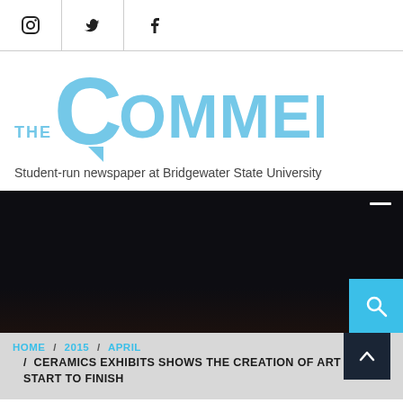Social media icons: Instagram, Twitter, Facebook
[Figure (logo): The Comment — Student-run newspaper at Bridgewater State University logo with large light-blue stylized 'C' speech bubble and text]
Student-run newspaper at Bridgewater State University
[Figure (photo): Dark/black hero banner image area with minimize button and search/navigation controls]
HOME / 2015 / APRIL / CERAMICS EXHIBITS SHOWS THE CREATION OF ART FROM START TO FINISH